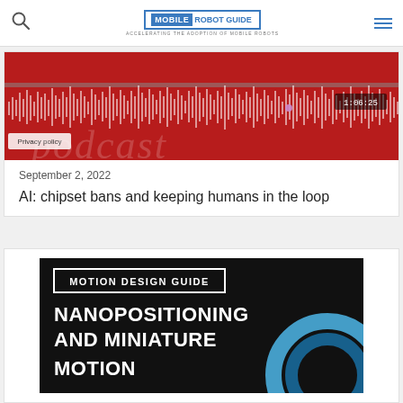MOBILE ROBOT GUIDE — ACCELERATING THE ADOPTION OF MOBILE ROBOTS
[Figure (screenshot): Podcast audio player with red background showing waveform visualization and timestamp 1:06:25, with 'Privacy policy' button and partial 'podcast' text overlay]
September 2, 2022
AI: chipset bans and keeping humans in the loop
[Figure (illustration): Motion Design Guide promotional image with black background, white bordered box labeled 'MOTION DESIGN GUIDE', bold white text reading 'NANOPOSITIONING AND MINIATURE MOTION', and a blue arc/circle design on the right]